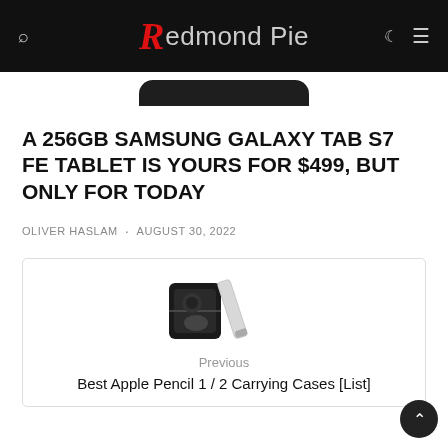Redmond Pie
[Figure (screenshot): Top edge of a dark tablet device partially visible]
A 256GB SAMSUNG GALAXY TAB S7 FE TABLET IS YOURS FOR $499, BUT ONLY FOR TODAY
OLIVER HASLAM · AUGUST 30, 2022
[Figure (photo): Apple Pencil carrying cases product image showing a black zip case and stylus accessories]
Previous
Best Apple Pencil 1 / 2 Carrying Cases [List]